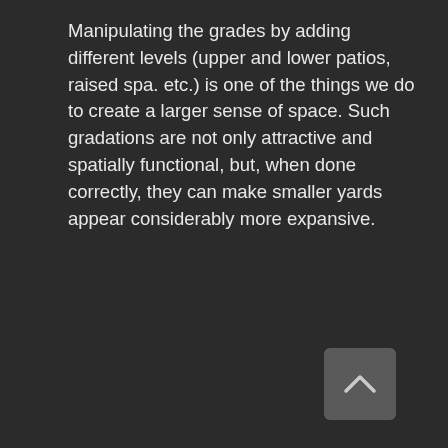Manipulating the grades by adding different levels (upper and lower patios, raised spa. etc.) is one of the things we do to create a larger sense of space. Such gradations are not only attractive and spatially functional, but, when done correctly, they can make smaller yards appear considerably more expansive.
[Figure (other): A scroll-to-top button (chevron/caret up icon) in a rounded rectangle, dark gray background]